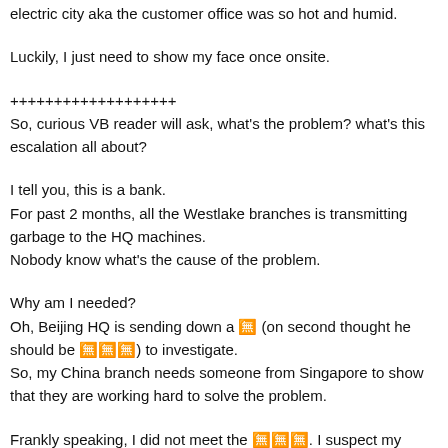electric city aka the customer office was so hot and humid.
Luckily, I just need to show my face once onsite.
+++++++++++++++++++
So, curious VB reader will ask, what's the problem? what's this escalation all about?
I tell you, this is a bank.
For past 2 months, all the Westlake branches is transmitting garbage to the HQ machines.
Nobody know what's the cause of the problem.
Why am I needed?
Oh, Beijing HQ is sending down a 🈚 (on second thought he should be 🈚🈚🈚) to investigate.
So, my China branch needs someone from Singapore to show that they are working hard to solve the problem.
Frankly speaking, I did not meet the 🈚🈚🈚. I suspect my present is sufficient proof that everyone is working hard on solving the problem.